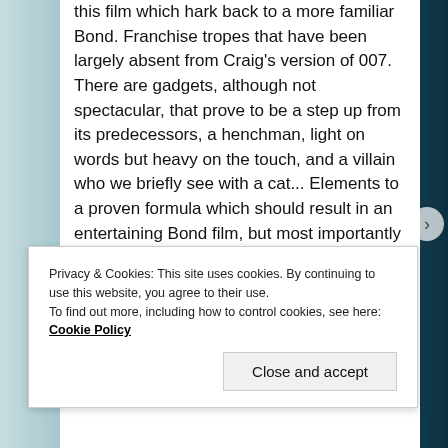this film which hark back to a more familiar Bond. Franchise tropes that have been largely absent from Craig's version of 007. There are gadgets, although not spectacular, that prove to be a step up from its predecessors, a henchman, light on words but heavy on the touch, and a villain who we briefly see with a cat... Elements to a proven formula which should result in an entertaining Bond film, but most importantly create nostalgia for the more passionate fans. The final product, although beautifully shot and wonderfully acted, doesn't hit home as it should.
Privacy & Cookies: This site uses cookies. By continuing to use this website, you agree to their use.
To find out more, including how to control cookies, see here: Cookie Policy
Close and accept